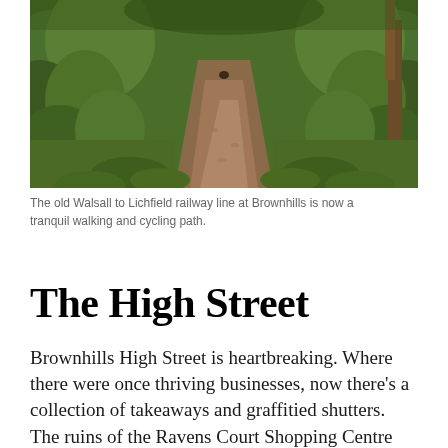[Figure (photo): A dirt path through green woodland vegetation at Brownhills, the old Walsall to Lichfield railway line now converted to a walking and cycling path. Lush green plants and trees line both sides of the track.]
The old Walsall to Lichfield railway line at Brownhills is now a tranquil walking and cycling path.
The High Street
Brownhills High Street is heartbreaking. Where there were once thriving businesses, now there's a collection of takeaways and graffitied shutters. The ruins of the Ravens Court Shopping Centre are particularly